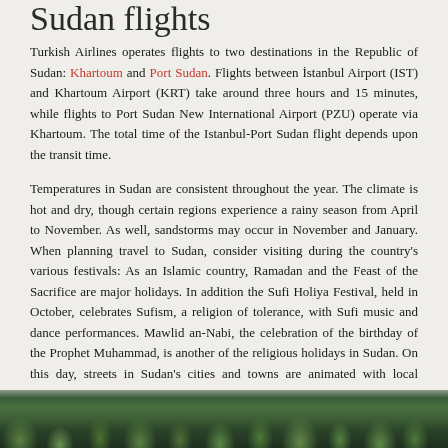Sudan flights
Turkish Airlines operates flights to two destinations in the Republic of Sudan: Khartoum and Port Sudan. Flights between İstanbul Airport (IST) and Khartoum Airport (KRT) take around three hours and 15 minutes, while flights to Port Sudan New International Airport (PZU) operate via Khartoum. The total time of the Istanbul-Port Sudan flight depends upon the transit time.
Temperatures in Sudan are consistent throughout the year. The climate is hot and dry, though certain regions experience a rainy season from April to November. As well, sandstorms may occur in November and January. When planning travel to Sudan, consider visiting during the country's various festivals: As an Islamic country, Ramadan and the Feast of the Sacrifice are major holidays. In addition the Sufi Holiya Festival, held in October, celebrates Sufism, a religion of tolerance, with Sufi music and dance performances. Mawlid an-Nabi, the celebration of the birthday of the Prophet Muhammad, is another of the religious holidays in Sudan. On this day, streets in Sudan's cities and towns are animated with local melodies.
[Figure (photo): Partial view of a lush green landscape with trees or vegetation, shown as a strip at the bottom of the page]